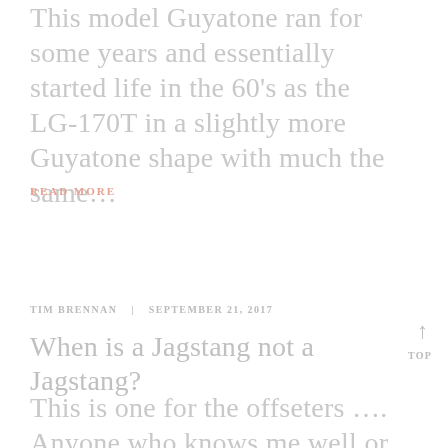This model Guyatone ran for some years and essentially started life in the 60's as the LG-170T in a slightly more Guyatone shape with much the same…
READ MORE
TIM BRENNAN   |   SEPTEMBER 21, 2017
When is a Jagstang not a Jagstang?
This is one for the offseters …. Anyone who knows me well or